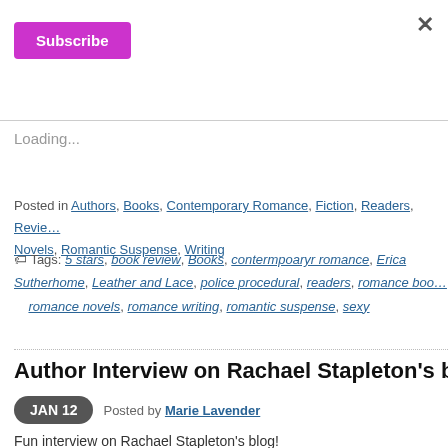[Figure (other): Purple Subscribe button with close X in top right corner]
Loading...
Posted in Authors, Books, Contemporary Romance, Fiction, Readers, Reviews of Novels, Romantic Suspense, Writing
Tags: 5 stars, book review, Books, contermpoaryr romance, Erica Sutherhome, Leather and Lace, police procedural, readers, romance boo…, romance novels, romance writing, romantic suspense, sexy
Author Interview on Rachael Stapleton's b…
JAN 12  Posted by Marie Lavender
Fun interview on Rachael Stapleton's blog!